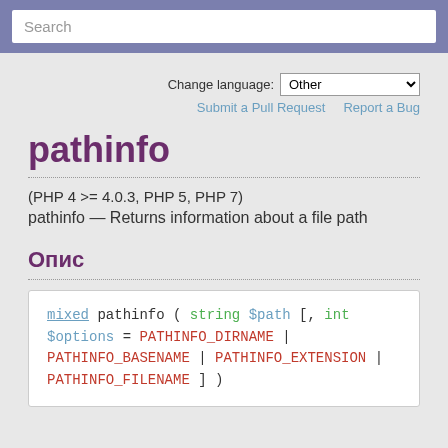Search
Change language: Other
Submit a Pull Request   Report a Bug
pathinfo
(PHP 4 >= 4.0.3, PHP 5, PHP 7)
pathinfo — Returns information about a file path
Опис
mixed pathinfo ( string $path [, int $options = PATHINFO_DIRNAME | PATHINFO_BASENAME | PATHINFO_EXTENSION | PATHINFO_FILENAME ] )